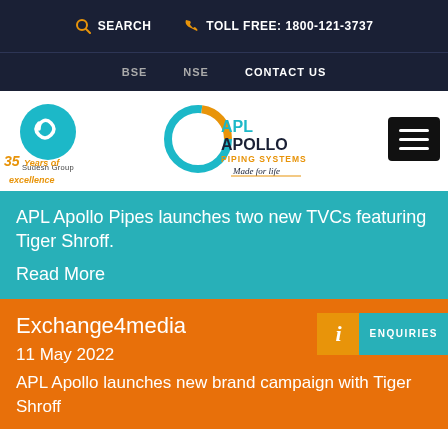SEARCH  TOLL FREE: 1800-121-3737
BSE  NSE  CONTACT US
[Figure (logo): Sudesh Group logo (circular teal icon) and APL Apollo Piping Systems logo with tagline Made for life]
35 Years of excellence
APL Apollo Pipes launches two new TVCs featuring Tiger Shroff.
Read More
Exchange4media
11 May 2022
APL Apollo launches new brand campaign with Tiger Shroff